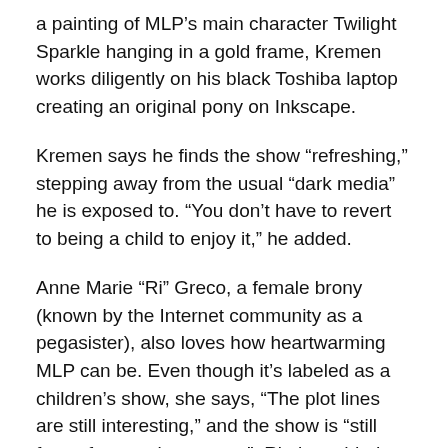a painting of MLP's main character Twilight Sparkle hanging in a gold frame, Kremen works diligently on his black Toshiba laptop creating an original pony on Inkscape.
Kremen says he finds the show “refreshing,” stepping away from the usual “dark media” he is exposed to. “You don’t have to revert to being a child to enjoy it,” he added.
Anne Marie “Ri” Greco, a female brony (known by the Internet community as a pegasister), also loves how heartwarming MLP can be. Even though it’s labeled as a children’s show, she says, “The plot lines are still interesting,” and the show is “still funny for people our age.”  Ri also added that “It’s about friends, which people lose sight of as they get older.”